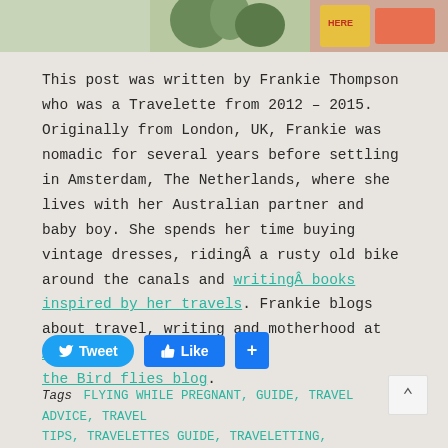[Figure (photo): Partial photo strip at top showing greenery and colorful signs]
This post was written by Frankie Thompson who was a Travelette from 2012 – 2015. Originally from London, UK, Frankie was nomadic for several years before settling in Amsterdam, The Netherlands, where she lives with her Australian partner and baby boy. She spends her time buying vintage dresses, ridingÂ a rusty old bike around the canals and writingÂ books inspired by her travels. Frankie blogs about travel, writing and motherhood at As the Bird flies blog.
[Figure (infographic): Social sharing buttons: Tweet, Like, and plus button]
Tags FLYING WHILE PREGNANT, GUIDE, TRAVEL ADVICE, TRAVEL TIPS, TRAVELETTES GUIDE, TRAVELETTING, TRAVELLING WHILE PREGNANT